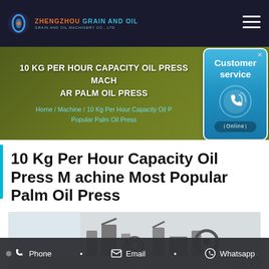ZHENGZHOU GRAIN AND OIL MACHINERY CO., LTD
10 KG PER HOUR CAPACITY OIL PRESS MACHINE MOST POPULAR AR PALM OIL PRESS
Home / Machine / 10 Kg Per Hour Capacity Oil Press Machine Most Popular Palm Oil Press
[Figure (illustration): Customer service widget with phone icon and Online label]
10 Kg Per Hour Capacity Oil Press Machine Most Popular Palm Oil Press
[Figure (photo): Factory/machinery photo showing industrial equipment in a white room]
Phone • Email • Whatsapp